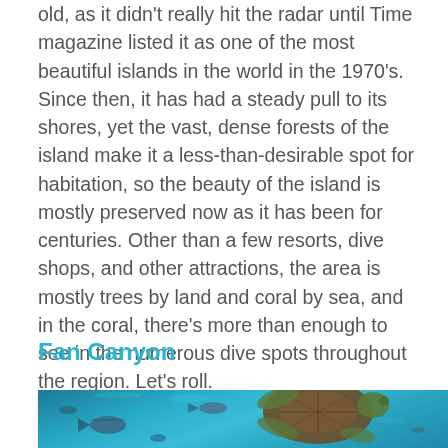old, as it didn't really hit the radar until Time magazine listed it as one of the most beautiful islands in the world in the 1970's. Since then, it has had a steady pull to its shores, yet the vast, dense forests of the island make it a less-than-desirable spot for habitation, so the beauty of the island is mostly preserved now as it has been for centuries. Other than a few resorts, dive shops, and other attractions, the area is mostly trees by land and coral by sea, and in the coral, there's more than enough to see in the numerous dive spots throughout the region. Let's roll.
Fan Canyon
[Figure (photo): Underwater photo showing a sea turtle swimming among fish in blue-teal ocean water with coral reef elements visible]